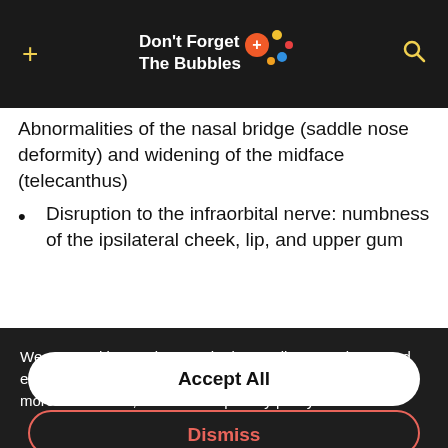Don't Forget The Bubbles
Abnormalities of the nasal bridge (saddle nose deformity) and widening of the midface (telecanthus)
Disruption to the infraorbital nerve: numbness of the ipsilateral cheek, lip, and upper gum
We use cookies to give you the best online experience and enable us to deliver the DFTB content you want to see. For more information, read our full privacy policy here.
Accept All
Dismiss